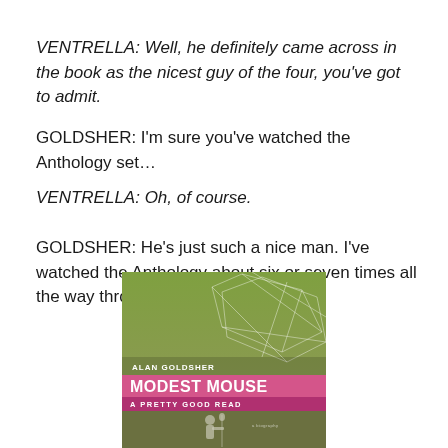VENTRELLA: Well, he definitely came across in the book as the nicest guy of the four, you've got to admit.
GOLDSHER: I'm sure you've watched the Anthology set…
VENTRELLA: Oh, of course.
GOLDSHER: He's just such a nice man. I've watched the Anthology about six or seven times all the way through.
[Figure (photo): Book cover of 'Modest Mouse: A Pretty Good Read' by Alan Goldsher. Green and olive-toned cover with geometric line art at top, pink/magenta horizontal stripe in the middle with title text, and a photo of a performer at a microphone at the bottom.]